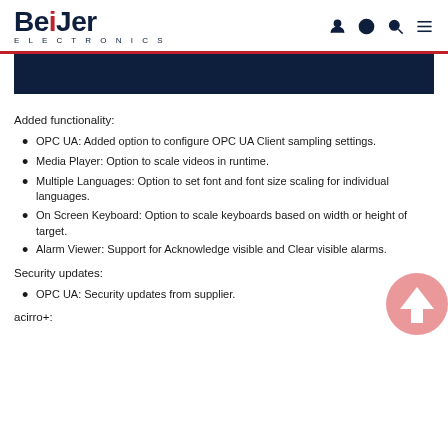Beijer Electronics
[Figure (other): Dark navy blue banner/image strip]
Added functionality:
OPC UA: Added option to configure OPC UA Client sampling settings.
Media Player: Option to scale videos in runtime.
Multiple Languages: Option to set font and font size scaling for individual languages.
On Screen Keyboard: Option to scale keyboards based on width or height of target.
Alarm Viewer: Support for Acknowledge visible and Clear visible alarms.
Security updates:
OPC UA: Security updates from supplier.
acirro+: